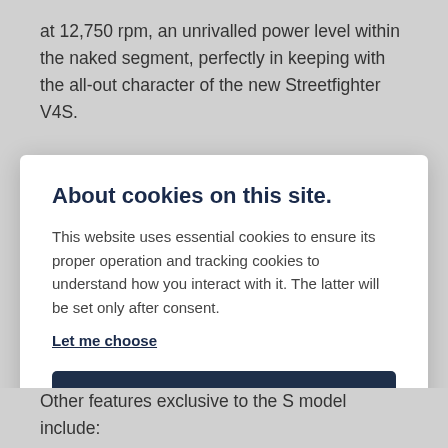at 12,750 rpm, an unrivalled power level within the naked segment, perfectly in keeping with the all-out character of the new Streetfighter V4S.
The electronics package has controls for every part of the ride. Features include:
About cookies on this site.
This website uses essential cookies to ensure its proper operation and tracking cookies to understand how you interact with it. The latter will be set only after consent. Let me choose
Accept all
Reject all
Other features exclusive to the S model include: